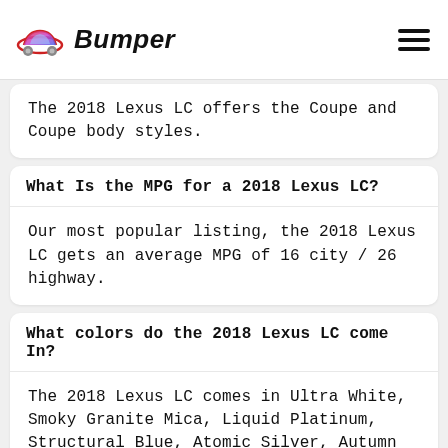Bumper
The 2018 Lexus LC offers the Coupe and Coupe body styles.
What Is the MPG for a 2018 Lexus LC?
Our most popular listing, the 2018 Lexus LC gets an average MPG of 16 city / 26 highway.
What colors do the 2018 Lexus LC come In?
The 2018 Lexus LC comes in Ultra White, Smoky Granite Mica, Liquid Platinum, Structural Blue, Atomic Silver, Autumn Shimmer, Nightfall Mica, Blackfor formal and...